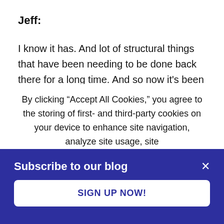Jeff:
I know it has. And lot of structural things that have been needing to be done back there for a long time. And so now it's been great to get a lot of that done.
Julia:
By clicking “Accept All Cookies,” you agree to the storing of first- and third-party cookies on your device to enhance site navigation, analyze site usage, site
Subscribe to our blog
SIGN UP NOW!